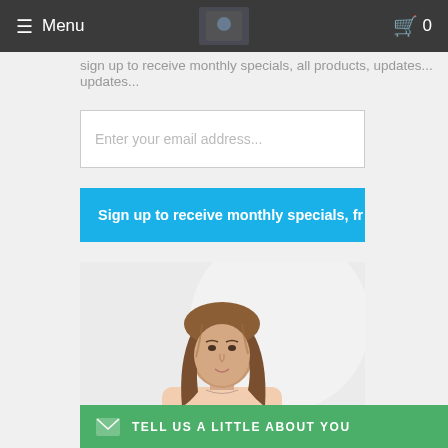Menu  0
Sign up to receive monthly specials, all products, updates...
Enter your email address...
Sign up to receive monthly specials, fr
[Figure (photo): Portrait photo of a young woman with long brown hair wearing a light pink blouse, posed against a white/light grey background]
TELL US A LITTLE ABOUT YOU